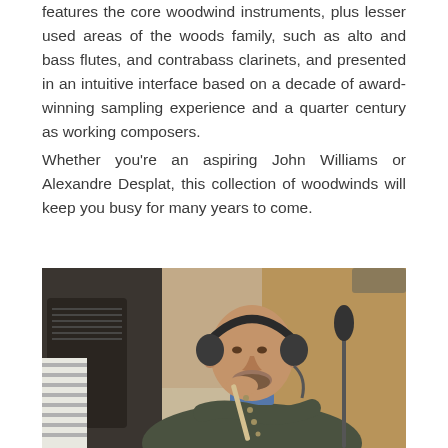features the core woodwind instruments, plus lesser used areas of the woods family, such as alto and bass flutes, and contrabass clarinets, and presented in an intuitive interface based on a decade of award-winning sampling experience and a quarter century as working composers.
Whether you're an aspiring John Williams or Alexandre Desplat, this collection of woodwinds will keep you busy for many years to come.
[Figure (photo): A bald man wearing headphones and a dark olive green sweater playing a woodwind instrument (flute or oboe) in what appears to be a recording studio. A music stand with sheet music is visible on the left side. The background shows studio equipment and warm wood-toned walls.]